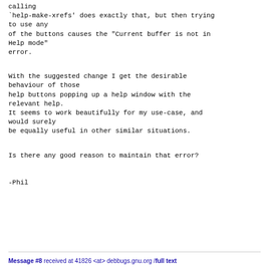calling
`help-make-xrefs' does exactly that, but then trying to use any
of the buttons causes the "Current buffer is not in Help mode"
error.

With the suggested change I get the desirable behaviour of those
help buttons popping up a help window with the relevant help.
It seems to work beautifully for my use-case, and would surely
be equally useful in other similar situations.

Is there any good reason to maintain that error?


-Phil
Message #8 received at 41826 <at> debbugs.gnu.org /full text